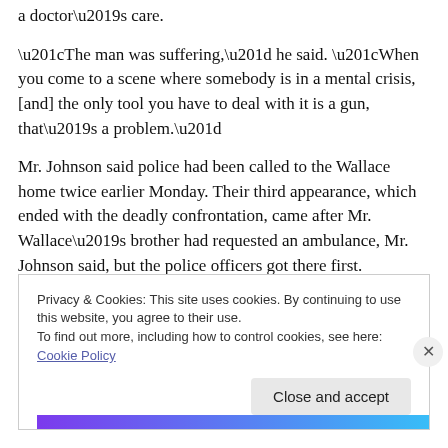a doctor’s care.
“The man was suffering,” he said. “When you come to a scene where somebody is in a mental crisis, [and] the only tool you have to deal with it is a gun, that’s a problem.”
Mr. Johnson said police had been called to the Wallace home twice earlier Monday. Their third appearance, which ended with the deadly confrontation, came after Mr. Wallace’s brother had requested an ambulance, Mr. Johnson said, but the police officers got there first.
Privacy & Cookies: This site uses cookies. By continuing to use this website, you agree to their use.
To find out more, including how to control cookies, see here: Cookie Policy